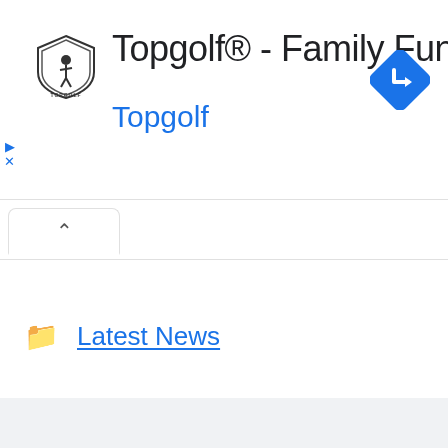[Figure (logo): Topgolf shield logo with golf imagery and TOPGOLF text beneath]
Topgolf® - Family Fun
Topgolf
[Figure (other): Blue diamond-shaped navigation turn arrow icon]
[Figure (other): Tab bar with upward caret chevron in active tab]
Latest News